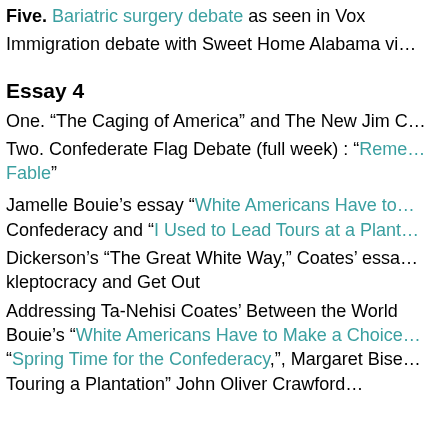Five. Bariatric surgery debate as seen in Vox
Immigration debate with Sweet Home Alabama vi…
Essay 4
One. “The Caging of America” and The New Jim C…
Two. Confederate Flag Debate (full week) : “Reme… Fable”
Jamelle Bouie’s essay “White Americans Have to… Confederacy and “I Used to Lead Tours at a Plant…
Dickerson’s “The Great White Way,” Coates’ essa… kleptocracy and Get Out
Addressing Ta-Nehisi Coates’ Between the World… Bouie’s “White Americans Have to Make a Choice… “Spring Time for the Confederacy,”, Margaret Bise… Touring a Plantation” John Oliver Crawford…